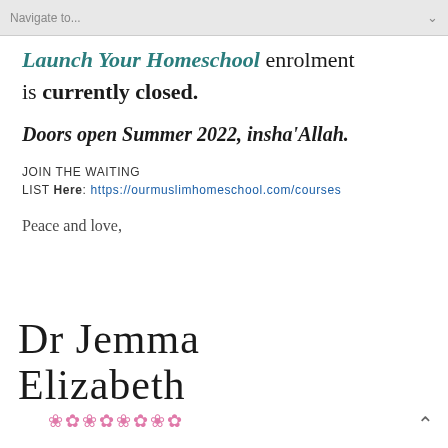Navigate to...
Launch Your Homeschool enrolment is currently closed.
Doors open Summer 2022, insha'Allah.
JOIN THE WAITING LIST Here: https://ourmuslimhomeschool.com/courses
Peace and love,
[Figure (illustration): Handwritten cursive signature reading 'Dr Jemma Elizabeth' with pink floral decorative elements below]